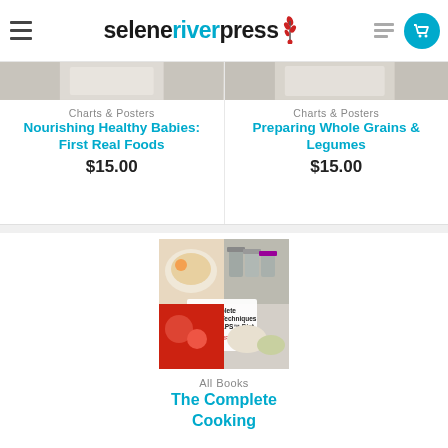seleneriverpress
[Figure (screenshot): Partial product image for Nourishing Healthy Babies: First Real Foods chart poster]
Charts & Posters
Nourishing Healthy Babies: First Real Foods
$15.00
[Figure (screenshot): Partial product image for Preparing Whole Grains & Legumes chart poster]
Charts & Posters
Preparing Whole Grains & Legumes
$15.00
[Figure (photo): Book cover of The Complete Cooking Techniques for the GAPS Diet showing food ingredients including soup, spices, tomatoes, and grains]
All Books
The Complete Cooking